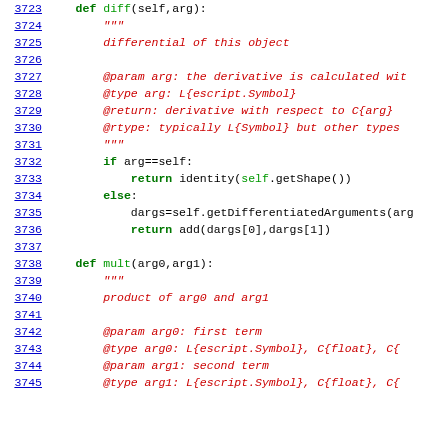Source code listing showing Python methods: diff and mult with docstrings and implementation